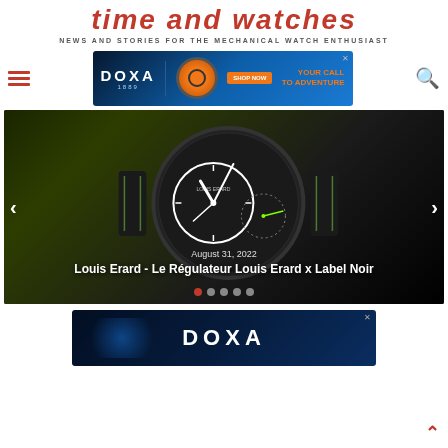Time and Watches
NEWS AND STORIES FOR THE MECHANICAL WATCH ENTHUSIAST
[Figure (screenshot): DOXA 1889 advertisement banner with orange watch and tagline YOUR CALL TO ADVENTURE on blue background]
[Figure (photo): Hero slider image of Louis Erard Le Régulateur Louis Erard x Label Noir watch with black dial and green accents on black textile strap, dated August 31, 2022]
August 31, 2022
Louis Erard - Le Régulateur Louis Erard x Label Noir
[Figure (screenshot): DOXA advertisement banner on dark blue underwater background]